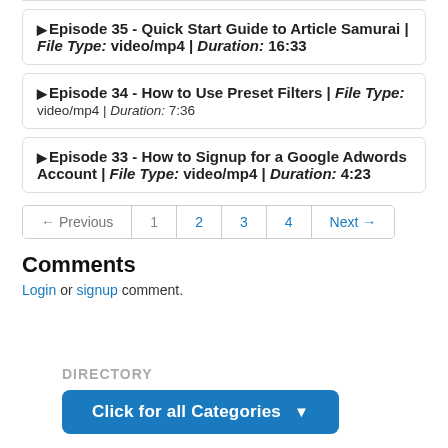▶Episode 35 - Quick Start Guide to Article Samurai | File Type: video/mp4 | Duration: 16:33
▶Episode 34 - How to Use Preset Filters | File Type: video/mp4 | Duration: 7:36
▶Episode 33 - How to Signup for a Google Adwords Account | File Type: video/mp4 | Duration: 4:23
← Previous  1  2  3  4  Next →
Comments
Login or signup comment.
DIRECTORY
Click for all Categories ▾